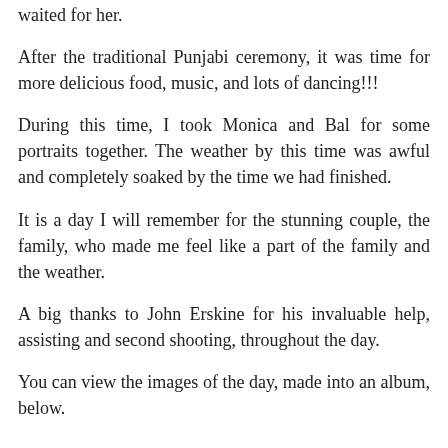waited for her.
After the traditional Punjabi ceremony, it was time for more delicious food, music, and lots of dancing!!!
During this time, I took Monica and Bal for some portraits together. The weather by this time was awful and completely soaked by the time we had finished.
It is a day I will remember for the stunning couple, the family, who made me feel like a part of the family and the weather.
A big thanks to John Erskine for his invaluable help, assisting and second shooting, throughout the day.
You can view the images of the day, made into an album, below.